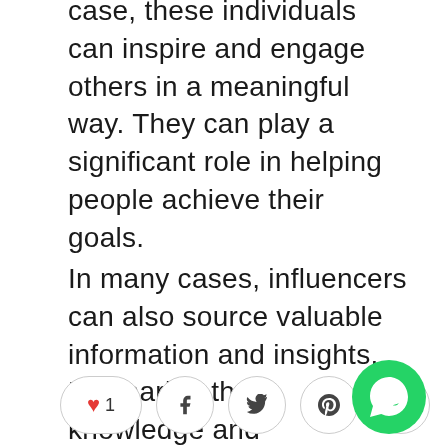case, these individuals can inspire and engage others in a meaningful way. They can play a significant role in helping people achieve their goals.
In many cases, influencers can also source valuable information and insights. By sharing their knowledge and experiences, they can help others learn more about various topics and make better decisions in their lives.
[Figure (other): Social sharing bar with heart/like button showing count 1, Facebook, Twitter, Pinterest, and email icon buttons. WhatsApp floating button in bottom right corner.]